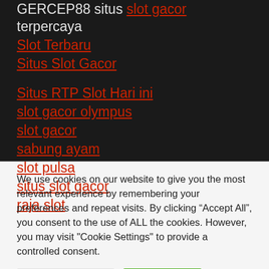GERCEP88 situs slot gacor terpercaya
Slot Terbaru
Situs Slot Gacor
Situs RTP Slot Hari ini
slot gacor olympus
slot gacor
sabung ayam
slot pulsa
situs slot gacor
raja slot
We use cookies on our website to give you the most relevant experience by remembering your preferences and repeat visits. By clicking “Accept All”, you consent to the use of ALL the cookies. However, you may visit "Cookie Settings" to provide a controlled consent.